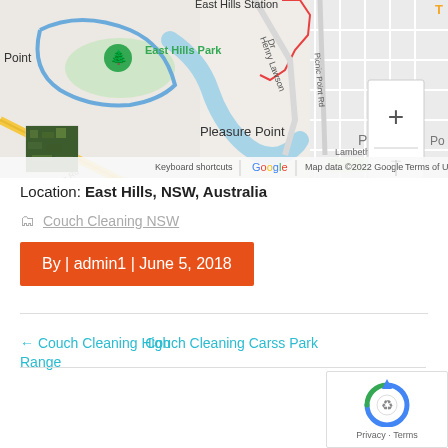[Figure (map): Google Maps screenshot showing East Hills area, NSW, Australia. Shows East Hills Station, East Hills Park with green tree marker, Pleasure Point area, Henry Lawson Dr, Picnic Point Rd, blue waterway, Lambeth Reserve, street grid, zoom controls (+/-), small satellite thumbnail, and Google/Map data attribution at bottom.]
Location: East Hills, NSW, Australia
Couch Cleaning NSW
By | admin1 | June 5, 2018
← Couch Cleaning High Range
Couch Cleaning Carss Park